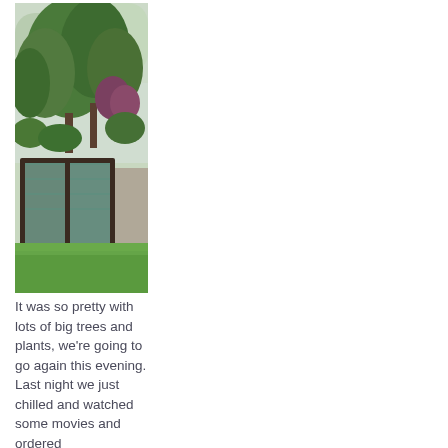[Figure (photo): Outdoor photograph showing large green trees against a cloudy sky, with a dark-framed structure (possibly a building or shade structure) in the lower portion, surrounded by green lawn and some reddish-purple foliage in the background.]
It was so pretty with lots of big trees and plants, we're going to go again this evening. Last night we just chilled and watched some movies and ordered